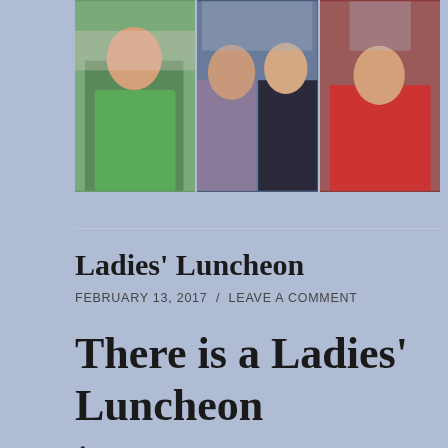[Figure (photo): Three-panel photo strip showing women at what appears to be a luncheon event. Left panel: woman in green top. Middle panel: two women, one in floral top and one in dark top. Right panel: woman in red cardigan.]
Ladies' Luncheon
FEBRUARY 13, 2017  /  LEAVE A COMMENT
There is a Ladies' Luncheon tomorrow, February 14th at noon!